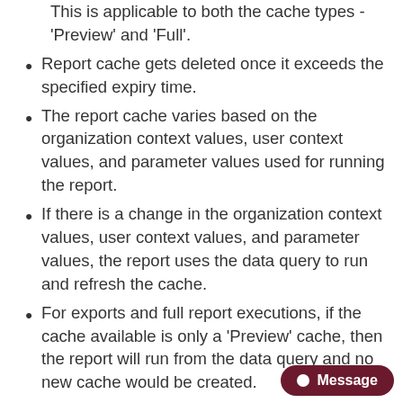This is applicable to both the cache types - 'Preview' and 'Full'.
Report cache gets deleted once it exceeds the specified expiry time.
The report cache varies based on the organization context values, user context values, and parameter values used for running the report.
If there is a change in the organization context values, user context values, and parameter values, the report uses the data query to run and refresh the cache.
For exports and full report executions, if the cache available is only a 'Preview' cache, then the report will run from the data query and no new cache would be created.
For exports and full report executions, if the cache available is a 'Full' cache, then the report will run using the non-expired cache and there